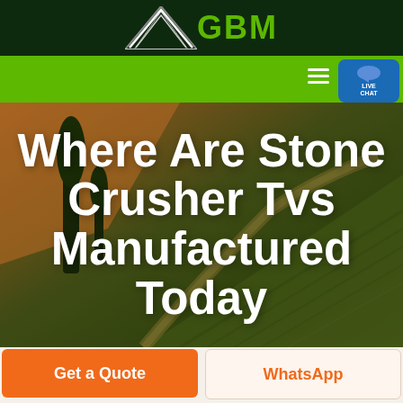GBM
[Figure (screenshot): Green nav bar with hamburger menu icon and Live Chat button]
Where Are Stone Crusher Tvs Manufactured Today
[Figure (photo): Aerial view of green and golden agricultural fields with a winding path]
Get a Quote
WhatsApp